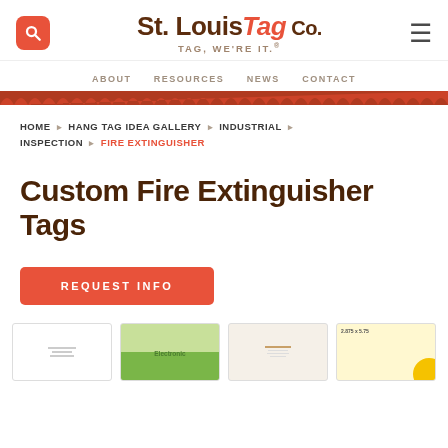St. Louis Tag Co. — TAG, WE'RE IT.®
ABOUT  RESOURCES  NEWS  CONTACT
HOME › HANG TAG IDEA GALLERY › INDUSTRIAL › INSPECTION › FIRE EXTINGUISHER
Custom Fire Extinguisher Tags
REQUEST INFO
[Figure (photo): Four thumbnail images of fire extinguisher hang tags]